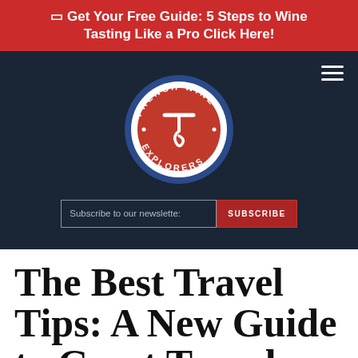🔲 Get Your Free Guide: 5 Steps to Wine Tasting Like a Pro Click Here!
[Figure (logo): French Wine Explorers circular logo with corkscrew in center on red background, blue border with white text]
Subscribe to our newsletter:
The Best Travel Tips: A New Guide to Great Travel